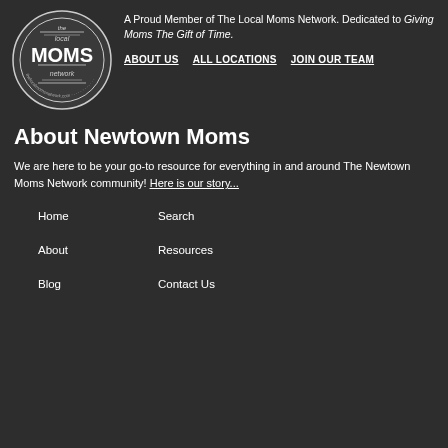[Figure (logo): The Local Moms Network circular logo — a badge/seal with text 'the local MOMS network' and website text around the border]
A Proud Member of The Local Moms Network. Dedicated to Giving Moms The Gift of Time.
ABOUT US
ALL LOCATIONS
JOIN OUR TEAM
About Newtown Moms
We are here to be your go-to resource for everything in and around The Newtown Moms Network community! Here is our story...
Home
Search
About
Resources
Blog
Contact Us